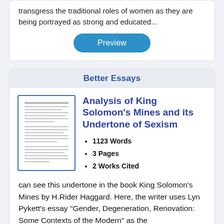transgress the traditional roles of women as they are being portrayed as strong and educated...
Preview
Better Essays
[Figure (illustration): Thumbnail image of a document page showing text of an essay]
Analysis of King Solomon's Mines and its Undertone of Sexism
1123 Words
3 Pages
2 Works Cited
can see this undertone in the book King Solomon's Mines by H.Rider Haggard. Here, the writer uses Lyn Pykett's essay "Gender, Degeneration, Renovation: Some Contexts of the Modern" as the